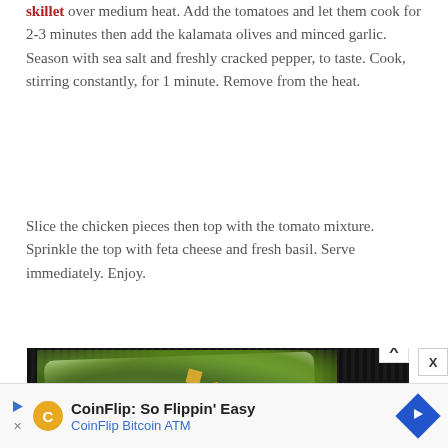skillet over medium heat. Add the tomatoes and let them cook for 2-3 minutes then add the kalamata olives and minced garlic. Season with sea salt and freshly cracked pepper, to taste. Cook, stirring constantly, for 1 minute. Remove from the heat.
Slice the chicken pieces then top with the tomato mixture. Sprinkle the top with feta cheese and fresh basil. Serve immediately. Enjoy.
[Figure (photo): A photo of a white plate with green salad leaves, herbs, croutons, and red berries on a dark ribbed background, partially visible]
CoinFlip: So Flippin' Easy
CoinFlip Bitcoin ATM